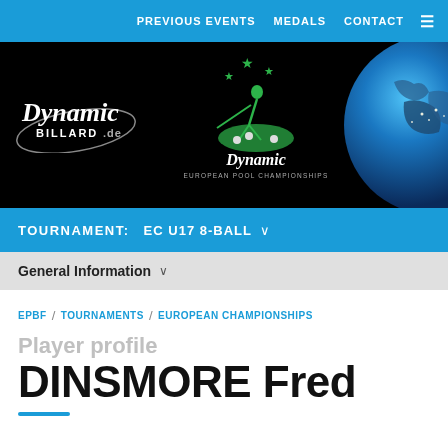PREVIOUS EVENTS   MEDALS   CONTACT
[Figure (logo): Dynamic Billard.de European Pool Championships banner with globe image on dark background]
TOURNAMENT: EC U17 8-BALL
General Information
EPBF / TOURNAMENTS / EUROPEAN CHAMPIONSHIPS
Player profile
DINSMORE Fred